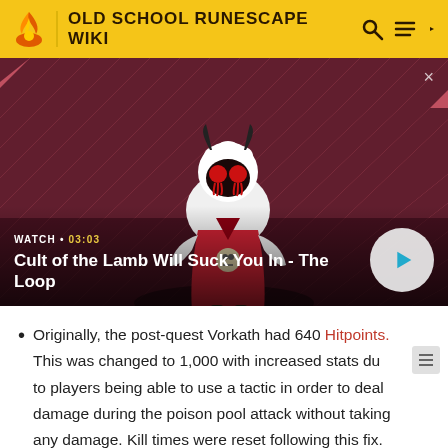OLD SCHOOL RUNESCAPE WIKI
[Figure (screenshot): Video thumbnail showing a cartoon lamb character from 'Cult of the Lamb' game on a red and dark purple diagonal striped background. The lamb has white fluffy fur, black devil horns, red glowing eyes, wearing a red ceremonial robe. Text overlay shows 'WATCH • 03:03' and title 'Cult of the Lamb Will Suck You In - The Loop' with a circular play button on the right.]
Originally, the post-quest Vorkath had 640 Hitpoints. This was changed to 1,000 with increased stats due to players being able to use a tactic in order to deal damage during the poison pool attack without taking any damage. Kill times were reset following this fix.